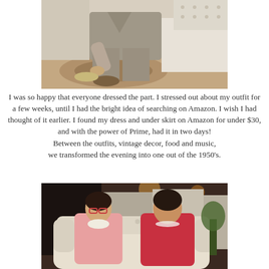[Figure (photo): Person in a gray suit sitting on the edge of a bed, putting on a shoe, with a decorative rug and white tufted headboard visible in background]
I was so happy that everyone dressed the part. I stressed out about my outfit for a few weeks, until I had the bright idea of searching on Amazon. I wish I had thought of it earlier. I found my dress and under skirt on Amazon for under $30, and with the power of Prime, had it in two days!
Between the outfits, vintage decor, food and music, we transformed the evening into one out of the 1950's.
[Figure (photo): Two women sitting on a white tufted loveseat/sofa. The woman on the left wears a pink dress and glasses, the woman on the right wears a red dress with a pearl necklace. Indoor setting with warm lighting.]